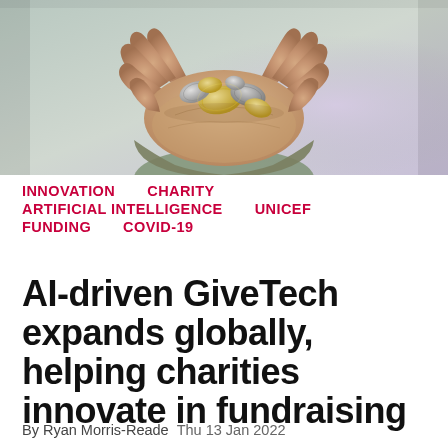[Figure (photo): Hands cupped together holding a collection of coins, photographed from above against a blurred background.]
INNOVATION   CHARITY   ARTIFICIAL INTELLIGENCE   UNICEF   FUNDING   COVID-19
AI-driven GiveTech expands globally, helping charities innovate in fundraising
By Ryan Morris-Reade  Thu 13 Jan 2022